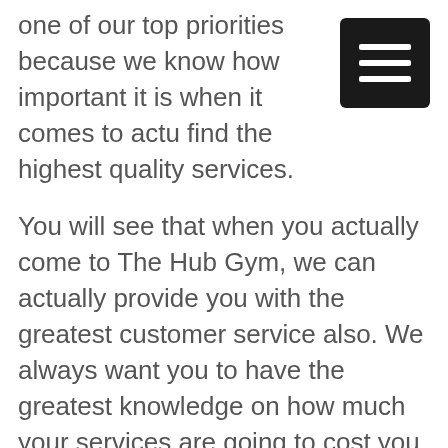one of our top priorities because we know how important it is when it comes to actu find the highest quality services.
[Figure (other): Hamburger menu icon — black rounded square with three white horizontal lines]
You will see that when you actually come to The Hub Gym, we can actually provide you with the greatest customer service also. We always want you to have the greatest knowledge on how much your services are going to cost you and how things are going to be done specifically when you come to us. You will see that when you come to us , not only are you going to be provided with the highest quality services along with the greatest customer service. That is why were actually always committed to what we do.